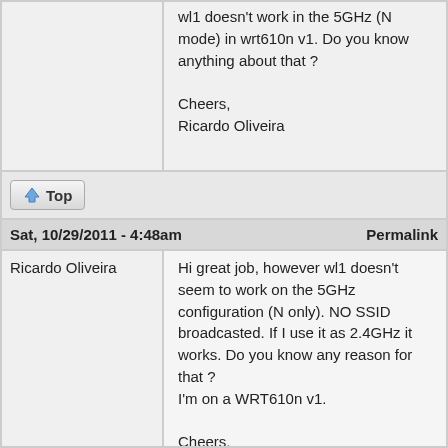wl1 doesn't work in the 5GHz (N mode) in wrt610n v1. Do you know anything about that ?

Cheers,
Ricardo Oliveira
Top
Sat, 10/29/2011 - 4:48am    Permalink
Ricardo Oliveira
Hi great job, however wl1 doesn't seem to work on the 5GHz configuration (N only). NO SSID broadcasted. If I use it as 2.4GHz it works. Do you know any reason for that ?
I'm on a WRT610n v1.

Cheers,